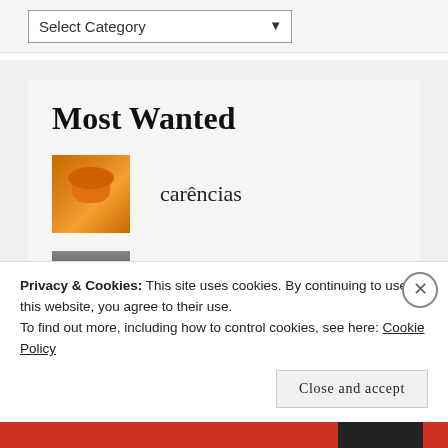[Figure (screenshot): A select/dropdown UI element labeled 'Select Category' with a down arrow, styled as a web form control]
Most Wanted
[Figure (photo): Thumbnail photo of an orange cat with large eyes (Puss in Boots style)]
carências
[Figure (photo): Black and white thumbnail photo of a person]
a avó
[Figure (photo): Thumbnail photo with warm orange/golden tones, appears to be a lion or animal]
eu sabia
Privacy & Cookies: This site uses cookies. By continuing to use this website, you agree to their use.
To find out more, including how to control cookies, see here: Cookie Policy
Close and accept